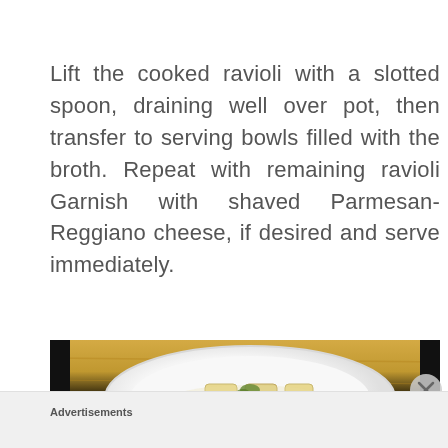Lift the cooked ravioli with a slotted spoon, draining well over pot, then transfer to serving bowls filled with the broth. Repeat with remaining ravioli Garnish with shaved Parmesan-Reggiano cheese, if desired and serve immediately.
[Figure (photo): A white plate with ravioli in broth garnished with green herb, placed on a wooden cutting board, dark background.]
Advertisements